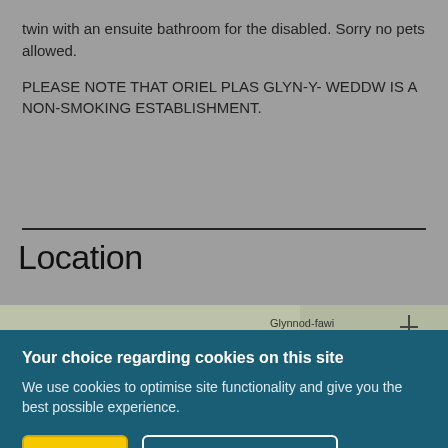twin with an ensuite bathroom for the disabled. Sorry no pets allowed.
PLEASE NOTE THAT ORIEL PLAS GLYN-Y- WEDDW IS A NON-SMOKING ESTABLISHMENT.
Location
[Figure (map): Partial view of a map showing Glynnod-fawi location]
Your choice regarding cookies on this site
We use cookies to optimise site functionality and give you the best possible experience.
I Accept   Cookie Preferences